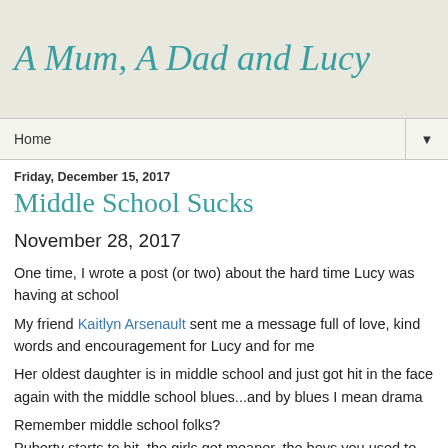A Mum, A Dad and Lucy
Home ▼
Friday, December 15, 2017
Middle School Sucks
November 28, 2017
One time, I wrote a post (or two) about the hard time Lucy was having at school
My friend Kaitlyn Arsenault sent me a message full of love, kind words and encouragement for Lucy and for me
Her oldest daughter is in middle school and just got hit in the face again with the middle school blues...and by blues I mean drama
Remember middle school folks?
Puberty starts to hit, the girls get meaner, the boys you used to play in the sandbox with become objects of your affection and the social ladder is as fierce as the bygone Social Register (a juggernaut in old